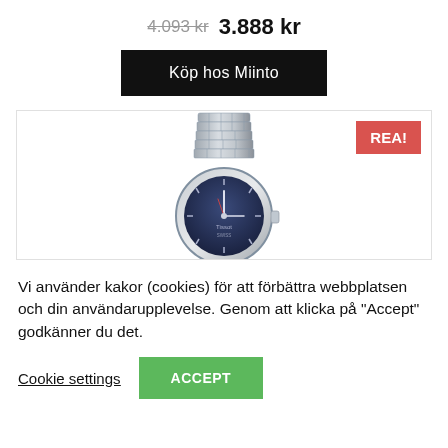4.093 kr  3.888 kr
Köp hos Miinto
[Figure (photo): A silver wristwatch (Tissot) with a blue dial and a metal bracelet, partially cropped at the bottom. A red 'REA!' badge appears in the top-right corner of the product card.]
Vi använder kakor (cookies) för att förbättra webbplatsen och din användarupplevelse. Genom att klicka på "Accept" godkänner du det.
Cookie settings
ACCEPT